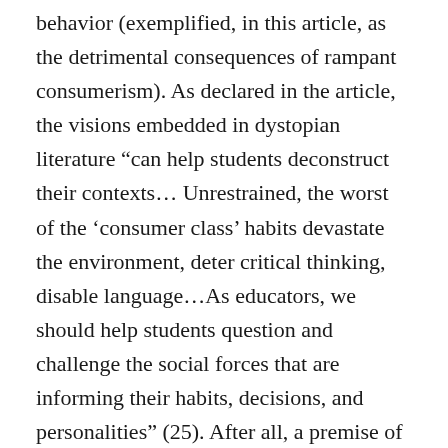behavior (exemplified, in this article, as the detrimental consequences of rampant consumerism). As declared in the article, the visions embedded in dystopian literature “can help students deconstruct their contexts… Unrestrained, the worst of the ‘consumer class’ habits devastate the environment, deter critical thinking, disable language…As educators, we should help students question and challenge the social forces that are informing their habits, decisions, and personalities” (25). After all, a premise of many dystopian texts is that average citizens are not only blind to the fact that they are being oppressed, but actually derive enjoyment from the mechanisms of their oppression.